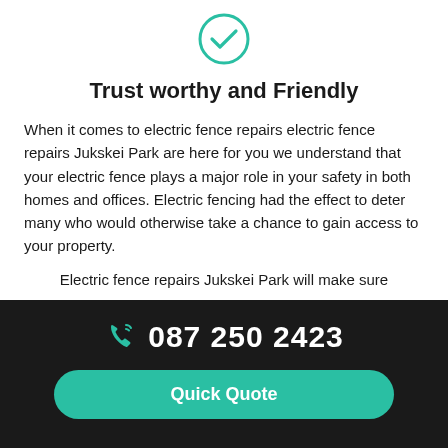[Figure (illustration): Teal circular checkmark icon]
Trust worthy and Friendly
When it comes to electric fence repairs electric fence repairs Jukskei Park are here for you we understand that your electric fence plays a major role in your safety in both homes and offices. Electric fencing had the effect to deter many who would otherwise take a chance to gain access to your property.
Electric fence repairs Jukskei Park will make sure
087 250 2423  Quick Quote